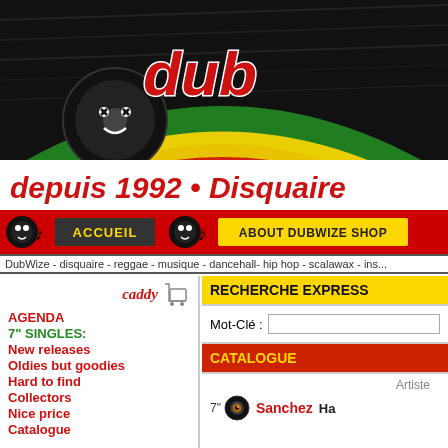[Figure (illustration): DubWize reggae record shop website header banner with vinyl record, rasta colors (green, yellow, red), 'dub' logo text in red/white, DJ character with dreadlocks and turntables, smiley vinyl record icon]
depuis 1992 + Disquaire
ACCUEIL | ABOUT DUBWIZE SHOP
DubWize - disquaire - reggae - musique - dancehall- hip hop - scalawax - ins...
caddy
AGENDA
7" SINGLES:
New releases
Oldies but goodies
Hard to find
Collectors
Nice price
Catalogue
RECHERCHE EXPRESS
Mot-Clé :
CATALOGUE
Artiste
7" Sanchez Ha...